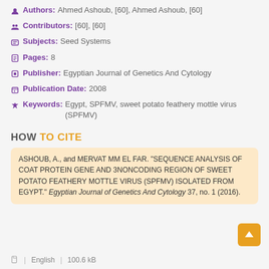Authors: Ahmed Ashoub, [60], Ahmed Ashoub, [60]
Contributors: [60], [60]
Subjects: Seed Systems
Pages: 8
Publisher: Egyptian Journal of Genetics And Cytology
Publication Date: 2008
Keywords: Egypt, SPFMV, sweet potato feathery mottle virus (SPFMV)
HOW TO CITE
ASHOUB, A., and MERVAT MM EL FAR. "SEQUENCE ANALYSIS OF COAT PROTEIN GENE AND 3NONCODING REGION OF SWEET POTATO FEATHERY MOTTLE VIRUS (SPFMV) ISOLATED FROM EGYPT." Egyptian Journal of Genetics And Cytology 37, no. 1 (2016).
English  |  100.6 kB